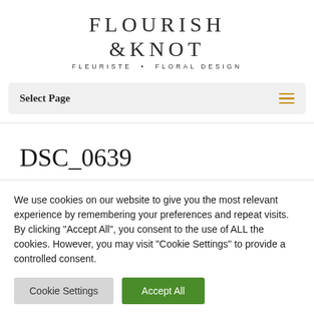FLOURISH & KNOT
FLEURISTE · FLORAL DESIGN
Select Page
DSC_0639
We use cookies on our website to give you the most relevant experience by remembering your preferences and repeat visits. By clicking "Accept All", you consent to the use of ALL the cookies. However, you may visit "Cookie Settings" to provide a controlled consent.
Cookie Settings | Accept All